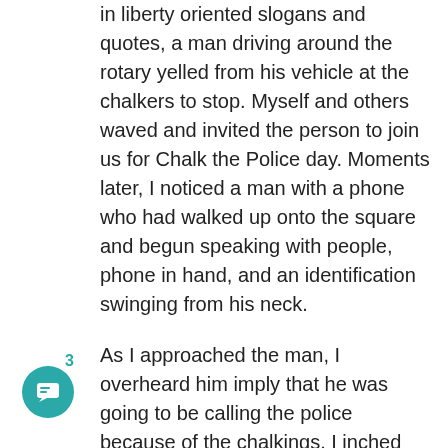in liberty oriented slogans and quotes, a man driving around the rotary yelled from his vehicle at the chalkers to stop. Myself and others waved and invited the person to join us for Chalk the Police day. Moments later, I noticed a man with a phone who had walked up onto the square and begun speaking with people, phone in hand, and an identification swinging from his neck.
As I approached the man, I overheard him imply that he was going to be calling the police because of the chalkings. I inched closer, and he saw that I was recording. Unmistakably, he would notice the PRESS armband adorned to the camera unit. As I zoomed in on his ID badge from over and arm's reach away, he reaches out and pushes my camera away from him. Standing next to us is Emberlea, a fellow blogger at Free Keene. She claims at this moment that Andy also hit her as he pushed at the camera. You can see